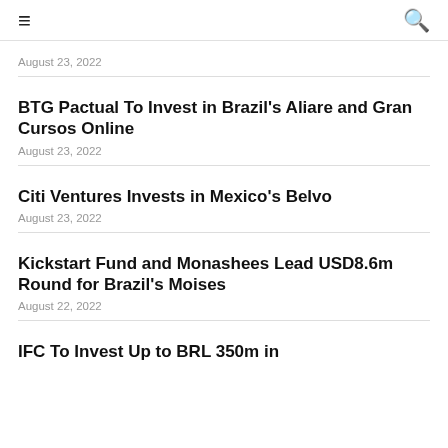≡  🔍
August 23, 2022
BTG Pactual To Invest in Brazil's Aliare and Gran Cursos Online
August 23, 2022
Citi Ventures Invests in Mexico's Belvo
August 23, 2022
Kickstart Fund and Monashees Lead USD8.6m Round for Brazil's Moises
August 22, 2022
IFC To Invest Up to BRL 350m in